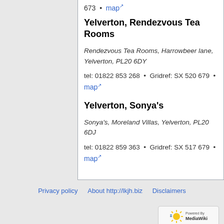673 • map
Yelverton, Rendezvous Tea Rooms
Rendezvous Tea Rooms, Harrowbeer lane, Yelverton, PL20 6DY
tel: 01822 853 268 • Gridref: SX 520 679 • map
Yelverton, Sonya's
Sonya's, Moreland Villas, Yelverton, PL20 6DJ
tel: 01822 859 363 • Gridref: SX 517 679 • map
Privacy policy   About http://lkjh.biz   Disclaimers